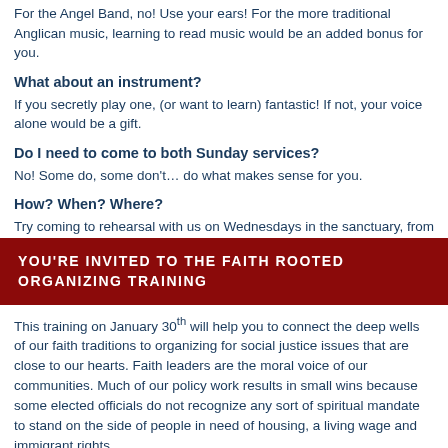For the Angel Band, no! Use your ears! For the more traditional Anglican music, learning to read music would be an added bonus for you.
What about an instrument?
If you secretly play one, (or want to learn) fantastic! If not, your voice alone would be a gift.
Do I need to come to both Sunday services?
No! Some do, some don't… do what makes sense for you.
How? When? Where?
Try coming to rehearsal with us on Wednesdays in the sanctuary, from 7:00 – 9:00 pm. No pressure, just come! Learn! Sing!
YOU'RE INVITED TO THE FAITH ROOTED ORGANIZING TRAINING
This training on January 30th will help you to connect the deep wells of our faith traditions to organizing for social justice issues that are close to our hearts. Faith leaders are the moral voice of our communities. Much of our policy work results in small wins because some elected officials do not recognize any sort of spiritual mandate to stand on the side of people in need of housing, a living wage and immigrant rights.
This full-day training will offer you tangible skills around organizing, and will help you to…